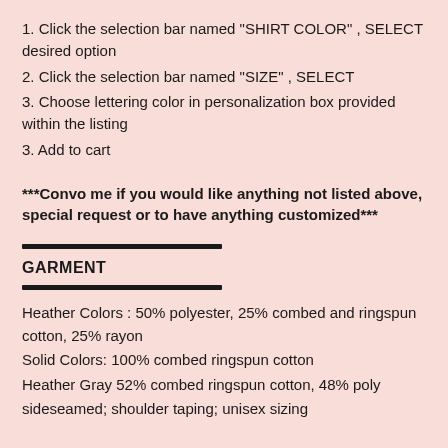1. Click the selection bar named "SHIRT COLOR" , SELECT desired option
2. Click the selection bar named "SIZE" , SELECT
3. Choose lettering color in personalization box provided within the listing
3. Add to cart
***Convo me if you would like anything not listed above, special request or to have anything customized***
GARMENT
Heather Colors : 50% polyester, 25% combed and ringspun cotton, 25% rayon
Solid Colors: 100% combed ringspun cotton
Heather Gray 52% combed ringspun cotton, 48% poly
sideseamed; shoulder taping; unisex sizing